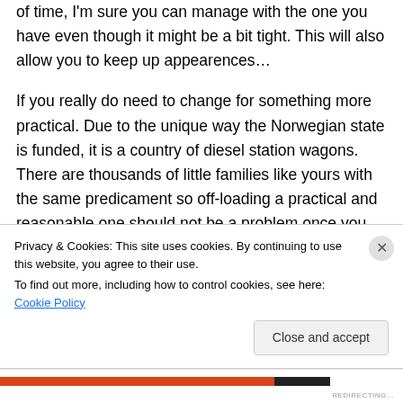of time, I'm sure you can manage with the one you have even though it might be a bit tight. This will also allow you to keep up appearences…
If you really do need to change for something more practical. Due to the unique way the Norwegian state is funded, it is a country of diesel station wagons. There are thousands of little families like yours with the same predicament so off-loading a practical and reasonable one should not be a problem once you decide to leave. If you can swallow your
Privacy & Cookies: This site uses cookies. By continuing to use this website, you agree to their use.
To find out more, including how to control cookies, see here: Cookie Policy